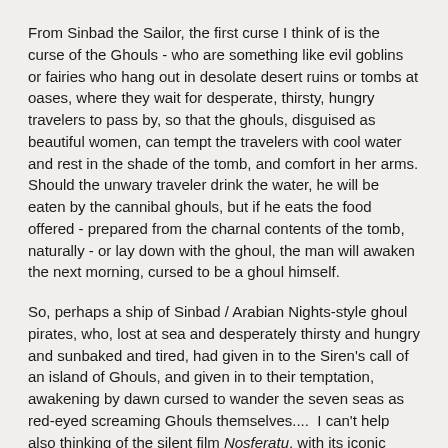From Sinbad the Sailor, the first curse I think of is the curse of the Ghouls - who are something like evil goblins or fairies who hang out in desolate desert ruins or tombs at oases, where they wait for desperate, thirsty, hungry travelers to pass by, so that the ghouls, disguised as beautiful women, can tempt the travelers with cool water and rest in the shade of the tomb, and comfort in her arms. Should the unwary traveler drink the water, he will be eaten by the cannibal ghouls, but if he eats the food offered - prepared from the charnal contents of the tomb, naturally - or lay down with the ghoul, the man will awaken the next morning, cursed to be a ghoul himself.
So, perhaps a ship of Sinbad / Arabian Nights-style ghoul pirates, who, lost at sea and desperately thirsty and hungry and sunbaked and tired, had given in to the Siren's call of an island of Ghouls, and given in to their temptation, awakening by dawn cursed to wander the seven seas as red-eyed screaming Ghouls themselves....  I can't help also thinking of the silent film Nosferatu, with its iconic vampire riding a ghost ship without crew - they'd all been killed by the vampire - until it came ashore in London.  Count Orlok makes a splendid ghoul - or maybe instead of ghouls, it's a crew cursed with vampirism: